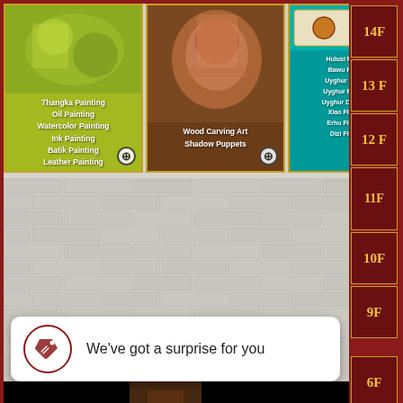[Figure (screenshot): Mobile app screenshot showing an art shopping interface. Top row has three category cards: a yellow-green 'Painting' card listing Thangka Painting, Oil Painting, Watercolor Painting, Ink Painting, Batik Painting, Leather Painting; a brown 'Wood Carving Art / Shadow Puppets' card; and a teal card listing Hulusi Fl, Bawu Pi, Uyghur L, Uyghur Fi, Uyghur Dr, Xiao Flu, Erhu Fid, Dizi Flu. Below is a brick-wall gallery with various framed artworks. A white notification bar reads 'We've got a surprise for you'. Right sidebar shows floor buttons: 14F, 13F, 12F, 11F, 10F, 9F, 6F.]